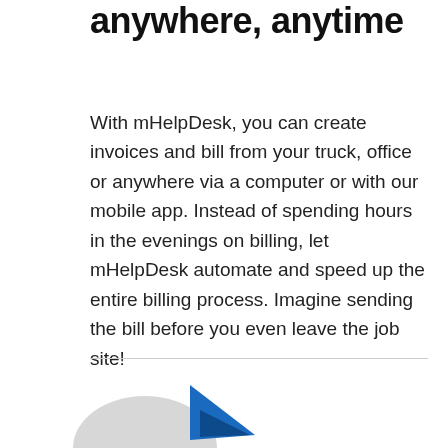anywhere, anytime
With mHelpDesk, you can create invoices and bill from your truck, office or anywhere via a computer or with our mobile app. Instead of spending hours in the evenings on billing, let mHelpDesk automate and speed up the entire billing process. Imagine sending the bill before you even leave the job site!
[Figure (illustration): Partial illustration showing blue and gray graphic elements at the bottom of the page, appears to be a logo or product illustration]